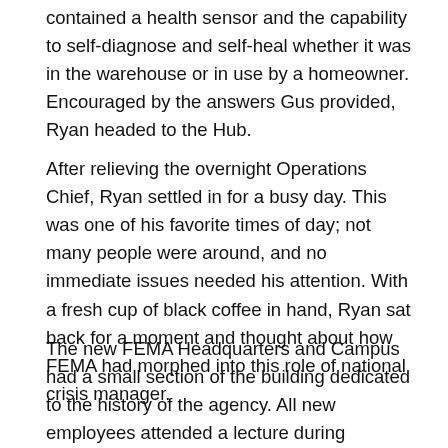contained a health sensor and the capability to self-diagnose and self-heal whether it was in the warehouse or in use by a homeowner. Encouraged by the answers Gus provided, Ryan headed to the Hub.
After relieving the overnight Operations Chief, Ryan settled in for a busy day. This was one of his favorite times of day; not many people were around, and no immediate issues needed his attention. With a fresh cup of black coffee in hand, Ryan sat back for a moment and thought about how FEMA had morphed into this role of national crisis manager.
The new FEMA Headquarters and Campus had a small section of the building dedicated to the history of the agency. All new employees attended a lecture during onboarding, learning the accomplishments, failures, and challenges of the agency. The exhibits and lecture examined the early days of civil defense, the Cold War, the Stafford Act and creation of FEMA, before moving on to responses to landmark disasters that had been coordinated by